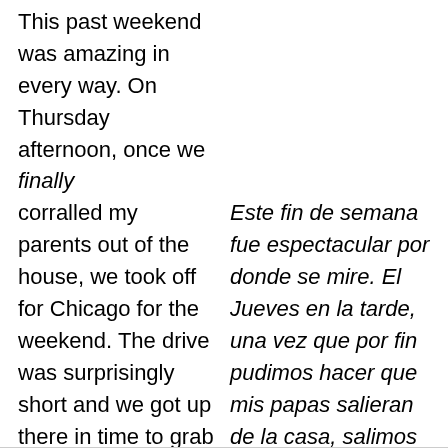This past weekend was amazing in every way. On Thursday afternoon, once we finally corralled my parents out of the house, we took off for Chicago for the weekend. The drive was surprisingly short and we got up there in time to grab dinner with Ian and Andrea at a little Mexican restaurant
Este fin de semana fue espectacular por donde se mire. El Jueves en la tarde, una vez que por fin pudimos hacer que mis papas salieran de la casa, salimos con rumbo a Chicago por el fin de semana. El viaje fue sorprendentemente corto y llegamos a tiempo para